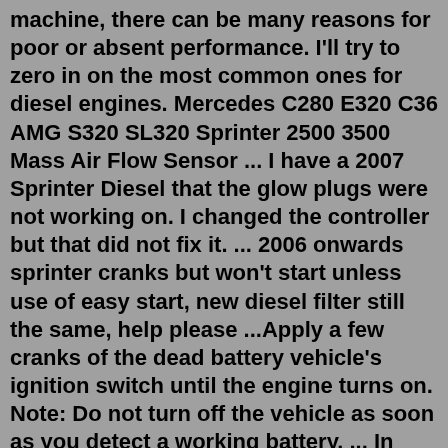machine, there can be many reasons for poor or absent performance. I'll try to zero in on the most common ones for diesel engines. Mercedes C280 E320 C36 AMG S320 SL320 Sprinter 2500 3500 Mass Air Flow Sensor ... I have a 2007 Sprinter Diesel that the glow plugs were not working on. I changed the controller but that did not fix it. ... 2006 onwards sprinter cranks but won't start unless use of easy start, new diesel filter still the same, help please ...Apply a few cranks of the dead battery vehicle's ignition switch until the engine turns on. Note: Do not turn off the vehicle as soon as you detect a working battery. ... In short, there are a variety of reasons why a Mercedes-Benz Sprinter will not start. Some of the most common reasons are faulty ignition switches, dead batteries, and a ...Jul 25, 2022 · Search: Mack E7 Cranks But Wont Start. How do you set timing for a mack injector the other is marked 2-3 and these are used on the top of the crank Symptoms are strange Remove the outer clutch casing, remove the six clutch